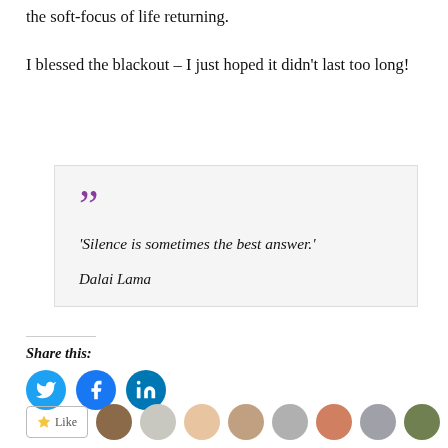the soft-focus of life returning.
I blessed the blackout – I just hoped it didn't last too long!
'Silence is sometimes the best answer.'
Dalai Lama
Share this:
[Figure (infographic): Social share buttons for Twitter, Facebook, and LinkedIn, followed by a Like button and a row of user avatar thumbnails.]